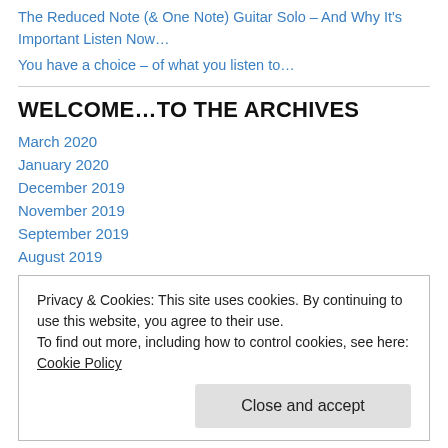The Reduced Note (& One Note) Guitar Solo – And Why It's Important Listen Now…
You have a choice – of what you listen to…
WELCOME…TO THE ARCHIVES
March 2020
January 2020
December 2019
November 2019
September 2019
August 2019
Privacy & Cookies: This site uses cookies. By continuing to use this website, you agree to their use.
To find out more, including how to control cookies, see here: Cookie Policy
April 2017